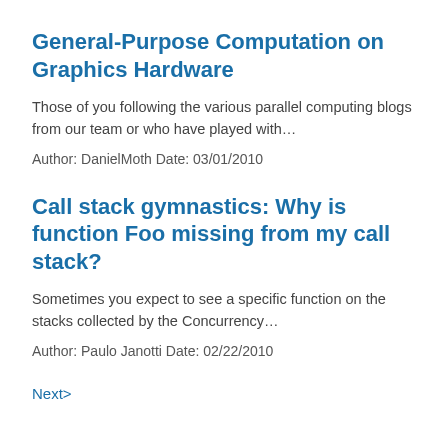General-Purpose Computation on Graphics Hardware
Those of you following the various parallel computing blogs from our team or who have played with…
Author: DanielMoth Date: 03/01/2010
Call stack gymnastics: Why is function Foo missing from my call stack?
Sometimes you expect to see a specific function on the stacks collected by the Concurrency…
Author: Paulo Janotti Date: 02/22/2010
Next>